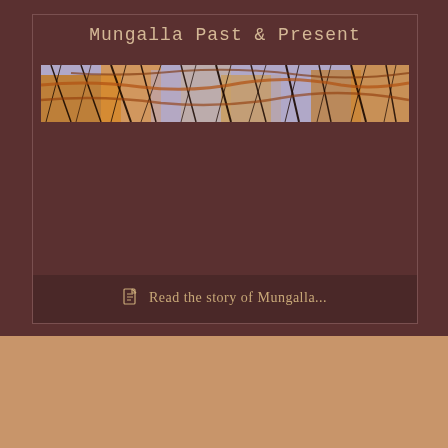Mungalla Past & Present
[Figure (photo): Wide horizontal banner photo showing palm fronds/branches with warm orange/amber tones against a light sky background]
Read the story of Mungalla...
[Figure (illustration): Faint leaf/plant logo icon in a tan/beige color]
Mungalla Awards